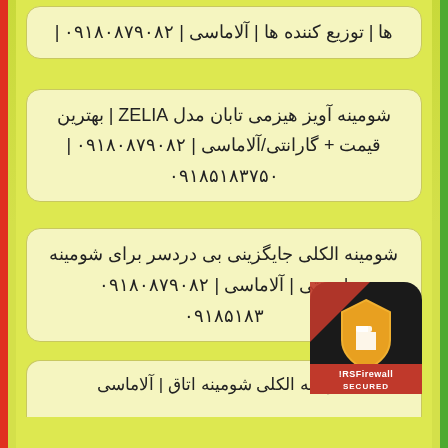ها | توزیع کننده ها | آلاماسی | ۰۹۱۸۰۸۷۹۰۸۲ |
شومینه آویز هیزمی تابان مدل ZELIA | بهترین قیمت + گارانتی/آلاماسی | ۰۹۱۸۰۸۷۹۰۸۲ | ۰۹۱۸۵۱۸۳۷۵۰
شومینه الکلی جایگزینی بی دردسر برای شومینه سنتی | آلاماسی | ۰۹۱۸۰۸۷۹۰۸۲ | ۰۹۱۸۵۱۸۳
[Figure (logo): RSFirewall SECURED badge/logo in bottom right corner]
شومینه الکلی شومینه اتاق | آلاماسی